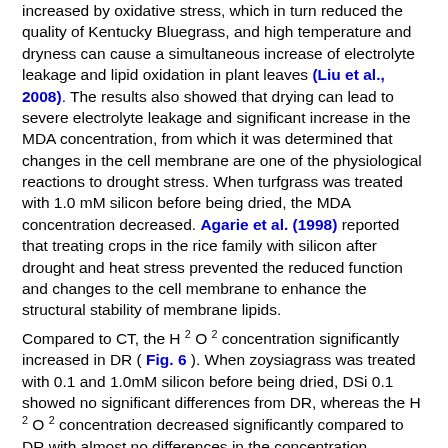increased by oxidative stress, which in turn reduced the quality of Kentucky Bluegrass, and high temperature and dryness can cause a simultaneous increase of electrolyte leakage and lipid oxidation in plant leaves (Liu et al., 2008). The results also showed that drying can lead to severe electrolyte leakage and significant increase in the MDA concentration, from which it was determined that changes in the cell membrane are one of the physiological reactions to drought stress. When turfgrass was treated with 1.0 mM silicon before being dried, the MDA concentration decreased. Agarie et al. (1998) reported that treating crops in the rice family with silicon after drought and heat stress prevented the reduced function and changes to the cell membrane to enhance the structural stability of membrane lipids.
Compared to CT, the H2O2 concentration significantly increased in DR (Fig. 6). When zoysiagrass was treated with 0.1 and 1.0mM silicon before being dried, DSi 0.1 showed no significant differences from DR, whereas the H2O2 concentration decreased significantly compared to DR with almost no differences in the concentration compared to CT. According to Davis (1995), oxidative stress on plants leads to the production of harmful ROSs such as superoxide anion (·O2), hydrogen peroxide (H2O2), hydroxyl radical (·OH) and singlet oxygen (1O2), which cause oxidative damage. An excessive accumulation of ROS in plant cells lead to the oxidation of molecular substances such as